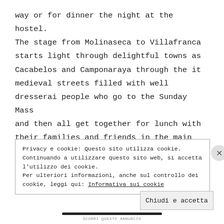way or for dinner the night at the hostel. The stage from Molinaseca to Villafranca starts light through delightful towns as Cacabelos and Camponaraya through the it medieval streets filled with well dresserai people who go to the Sunday Mass and then all get together for lunch with their families and friends in the main squares. It seems to go back for a while to 15 or 20 years ago when in Sundays we
Privacy e cookie: Questo sito utilizza cookie. Continuando a utilizzare questo sito web, si accetta l'utilizzo dei cookie.
Per ulteriori informazioni, anche sul controllo dei cookie, leggi qui: Informativa sui cookie
Chiudi e accetta